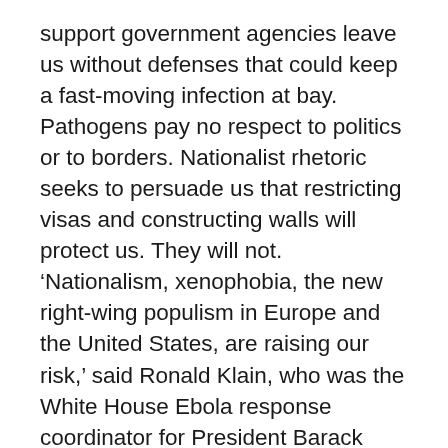support government agencies leave us without defenses that could keep a fast-moving infection at bay. Pathogens pay no respect to politics or to borders. Nationalist rhetoric seeks to persuade us that restricting visas and constructing walls will protect us. They will not. ‘Nationalism, xenophobia, the new right-wing populism in Europe and the United States, are raising our risk,’ said Ronald Klain, who was the White House Ebola response coordinator for President Barack Obama and now teaches at Harvard Law School. ‘There’s a focus not so much on stopping infectious diseases as much as there is on preventing the movement of people to prevent the transmission of diseases. And that’s not possible, because no matter what you do about immigrants, we live in a connected world’.” Moreover, that belief system can be seen in the White House, as President Trump tweeted during the 2014 Ebola